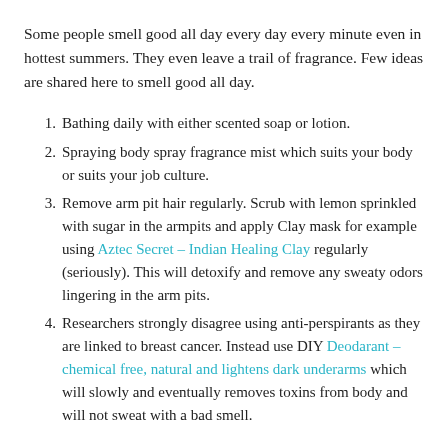Some people smell good all day every day every minute even in hottest summers. They even leave a trail of fragrance. Few ideas are shared here to smell good all day.
1. Bathing daily with either scented soap or lotion.
2. Spraying body spray fragrance mist which suits your body or suits your job culture.
3. Remove arm pit hair regularly. Scrub with lemon sprinkled with sugar in the armpits and apply Clay mask for example using Aztec Secret – Indian Healing Clay regularly (seriously). This will detoxify and remove any sweaty odors lingering in the arm pits.
4. Researchers strongly disagree using anti-perspirants as they are linked to breast cancer. Instead use DIY Deodarant – chemical free, natural and lightens dark underarms which will slowly and eventually removes toxins from body and will not sweat with a bad smell.